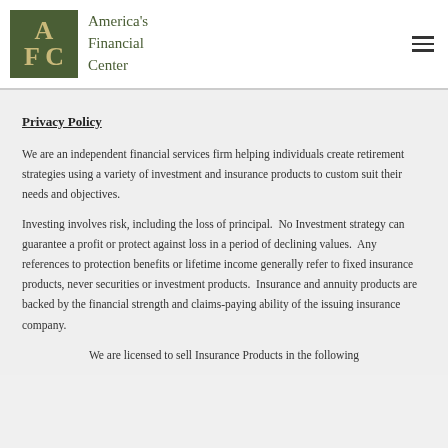[Figure (logo): America's Financial Center logo with dark green square containing AFC letters in gold, followed by company name in dark olive text]
Privacy Policy
We are an independent financial services firm helping individuals create retirement strategies using a variety of investment and insurance products to custom suit their needs and objectives.
Investing involves risk, including the loss of principal.  No Investment strategy can guarantee a profit or protect against loss in a period of declining values.  Any references to protection benefits or lifetime income generally refer to fixed insurance products, never securities or investment products.  Insurance and annuity products are backed by the financial strength and claims-paying ability of the issuing insurance company.
We are licensed to sell Insurance Products in the following